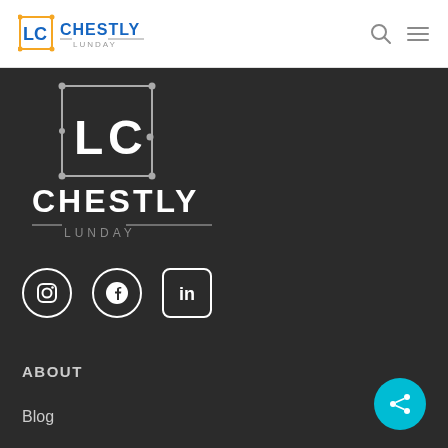[Figure (logo): Chestly Lunday logo in navbar - orange and blue LC icon with CHESTLY LUNDAY text]
[Figure (logo): Search icon (magnifying glass) and hamburger menu icon in navbar]
[Figure (logo): Large Chestly Lunday white logo on dark background with circuit-style LC monogram and CHESTLY LUNDAY wordmark]
[Figure (infographic): Social media icons: Instagram, Facebook, LinkedIn in white circles on dark background]
ABOUT
Blog
DigitalChurch.network
[Figure (other): Cyan share/social button with share icon in bottom right]